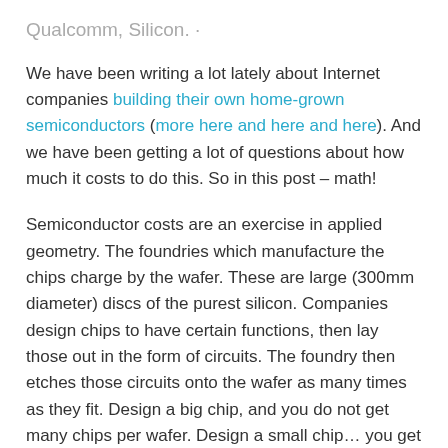Qualcomm, Silicon. ·
We have been writing a lot lately about Internet companies building their own home-grown semiconductors (more here and here and here). And we have been getting a lot of questions about how much it costs to do this. So in this post – math!
Semiconductor costs are an exercise in applied geometry. The foundries which manufacture the chips charge by the wafer. These are large (300mm diameter) discs of the purest silicon. Companies design chips to have certain functions, then lay those out in the form of circuits. The foundry then etches those circuits onto the wafer as many times as they fit. Design a big chip, and you do not get many chips per wafer. Design a small chip… you get the idea. There are a few other factors at play, but they are mostly functions of this